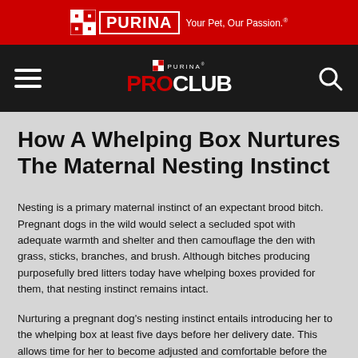[Figure (logo): Purina red banner with Purina logo and tagline 'Your Pet, Our Passion.']
[Figure (logo): Black navigation bar with hamburger menu, Purina Pro Club logo, and search icon]
How A Whelping Box Nurtures The Maternal Nesting Instinct
Nesting is a primary maternal instinct of an expectant brood bitch. Pregnant dogs in the wild would select a secluded spot with adequate warmth and shelter and then camouflage the den with grass, sticks, branches, and brush. Although bitches producing purposefully bred litters today have whelping boxes provided for them, that nesting instinct remains intact.
Nurturing a pregnant dog's nesting instinct entails introducing her to the whelping box at least five days before her delivery date. This allows time for her to become adjusted and comfortable before the puppies are born. Breeders often choose a small room in their home